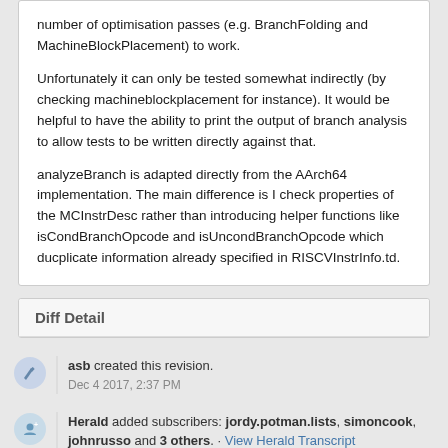number of optimisation passes (e.g. BranchFolding and MachineBlockPlacement) to work.

Unfortunately it can only be tested somewhat indirectly (by checking machineblockplacement for instance). It would be helpful to have the ability to print the output of branch analysis to allow tests to be written directly against that.

analyzeBranch is adapted directly from the AArch64 implementation. The main difference is I check properties of the MCInstrDesc rather than introducing helper functions like isCondBranchOpcode and isUncondBranchOpcode which ducplicate information already specified in RISCVInstrInfo.td.
Diff Detail
asb created this revision.
Dec 4 2017, 2:37 PM
Herald added subscribers: jordy.potman.lists, simoncook, johnrusso and 3 others. · View Herald Transcript